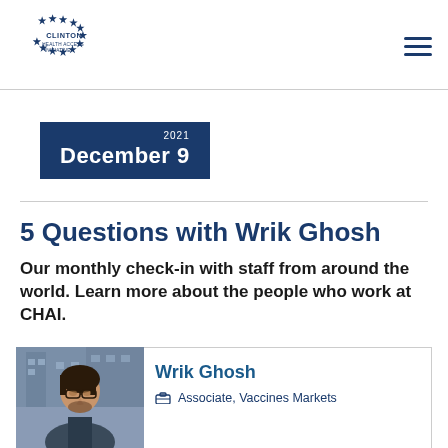Clinton Health Access Initiative
2021 December 9
5 Questions with Wrik Ghosh
Our monthly check-in with staff from around the world. Learn more about the people who work at CHAI.
[Figure (photo): Headshot photo of Wrik Ghosh, a man with dark hair and glasses, outdoors near a building]
Wrik Ghosh
Associate, Vaccines Markets